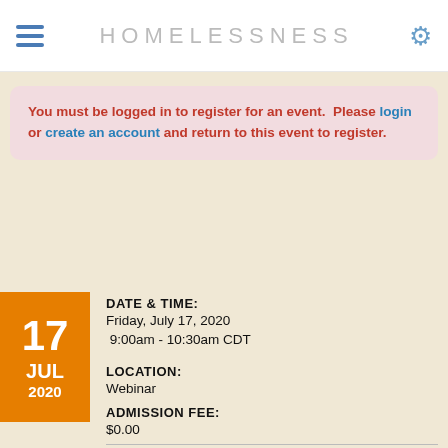HOMELESSNESS
You must be logged in to register for an event.  Please login or create an account and return to this event to register.
DATE & TIME:
Friday, July 17, 2020
 9:00am - 10:30am CDT
LOCATION:
Webinar
ADMISSION FEE:
$0.00
MEMBER ADMISSION FEE: